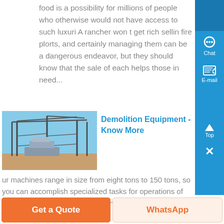food is a possibility for millions of people who otherwise would not have access to such luxuri A rancher won t get rich sellin fire plorts, and certainly managing them can be a dangerous endeavor, but they should know that the sale of each helps those in need...
[Figure (photo): Construction/demolition equipment structure with metal frame, outdoors with blue sky]
Demolition Equipment - Know More
ur machines range in size from eight tons to 150 tons, so you can accomplish specialized tasks for operations of variou scal also manufactures the highest demolition machine in the world as of April, 2004, at 50 meters from base to